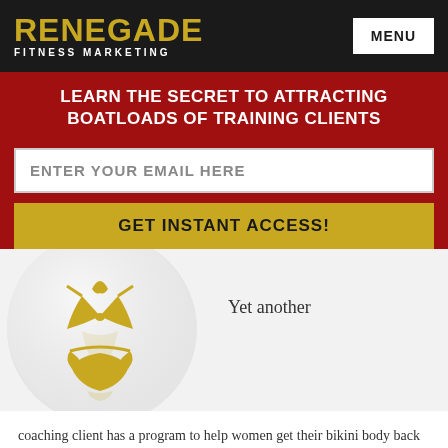RENEGADE FITNESS MARKETING | MENU
LEARN THE SECRET TO ATTRACTING BOATLOADS OF TRAINING CLIENTS
ENTER YOUR EMAIL HERE
GET INSTANT ACCESS!
[Figure (illustration): Gold bikini icon on a white circular disc, shown on a light gray background]
Yet another
coaching client has a program to help women get their bikini body back in 12 weeks. It's a complete at home workout and nutrition